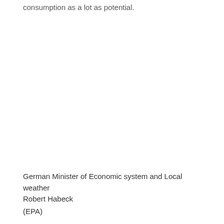consumption as a lot as potential.
German Minister of Economic system and Local weather Robert Habeck
(EPA)